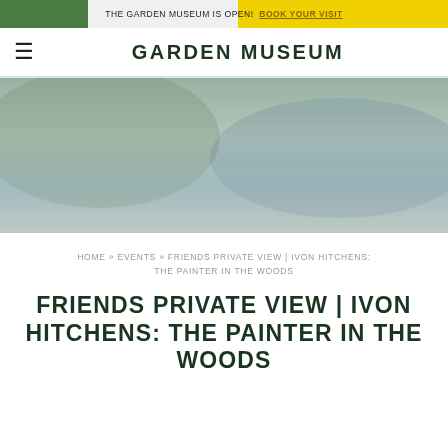THE GARDEN MUSEUM IS OPEN! BOOK YOUR VISIT
GARDEN MUSEUM
[Figure (photo): Blurred hero image of a garden or museum exhibit, showing green and blue tones]
HOME » EVENTS » FRIENDS PRIVATE VIEW | IVON HITCHENS: THE PAINTER IN THE WOODS
FRIENDS PRIVATE VIEW | IVON HITCHENS: THE PAINTER IN THE WOODS